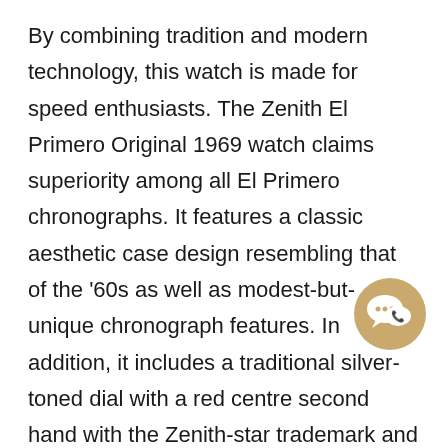By combining tradition and modern technology, this watch is made for speed enthusiasts. The Zenith El Primero Original 1969 watch claims superiority among all El Primero chronographs. It features a classic aesthetic case design resembling that of the '60s as well as modest-but-unique chronograph features. In addition, it includes a traditional silver-toned dial with a red centre second hand with the Zenith-star trademark and 3 sub-dials of blue, light-grey, and dark-grey.
As a highly accurate timepiece, this watch operates with the El Primero 400 self-winding movement, which is visible through the sapphire crystal caseback. The 278-component movement has a frequency of 36,000
[Figure (illustration): A circular golden/tan chat bubble icon with two overlapping speech bubbles and a phone symbol inside]